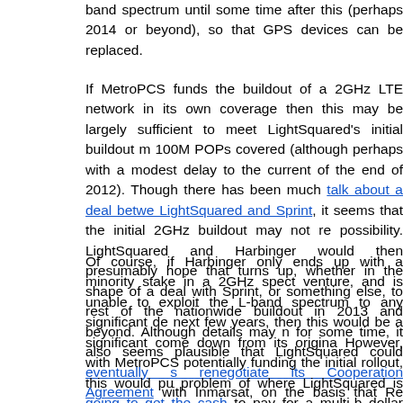band spectrum until some time after this (perhaps 2014 or beyond), so that GPS devices can be replaced.
If MetroPCS funds the buildout of a 2GHz LTE network in its own coverage then this may be largely sufficient to meet LightSquared's initial buildout m 100M POPs covered (although perhaps with a modest delay to the current of the end of 2012). Though there has been much talk about a deal between LightSquared and Sprint, it seems that the initial 2GHz buildout may not re possibility. LightSquared and Harbinger would then presumably hope that turns up, whether in the shape of a deal with Sprint, or something else, to rest of the nationwide buildout in 2013 and beyond. Although details may n for some time, it also seems plausible that LightSquared could eventually seek to renegotiate its Cooperation Agreement with Inmarsat, on the basis that Re Changes have made it impossible for LightSquared to secure the originally benefits of the deal in the L-band.
Of course, if Harbinger only ends up with a minority stake in a 2GHz spect venture, and is unable to exploit the L-band spectrum to any significant de next few years, then this would be a significant come down from its origina However, with MetroPCS potentially funding the initial rollout, this would pu problem of where LightSquared is going to get the cash to pay for a multi-b dollar national network down the road by at least two years, allowing Harbi hope that spectrum values and data demand will grow enough for it to reco $2.9B investment in the L-band and fund the rest of the nationwide buildou point.